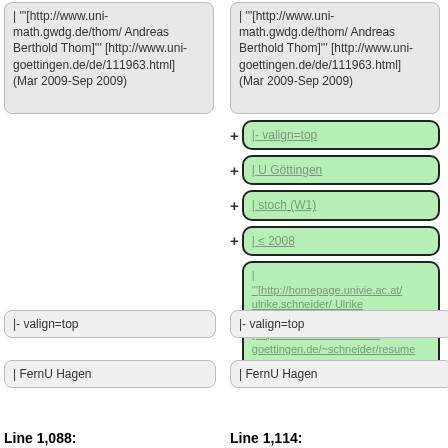| '''[http://www.uni-math.gwdg.de/thom/ Andreas Berthold Thom]''' [http://www.uni-goettingen.de/de/111963.html] (Mar 2009-Sep 2009)
| '''[http://www.uni-math.gwdg.de/thom/ Andreas Berthold Thom]''' [http://www.uni-goettingen.de/de/111963.html] (Mar 2009-Sep 2009)
|- valign=top
| U Göttingen
| stoch (W1)
| ≤ 2008
| '''[http://homepage.univie.ac.at/ulrike.schneider/ Ulrike Schneider]''' [http://stochastik.math.uni-goettingen.de/~schneider/resume.html]
|- valign=top
|- valign=top
| FernU Hagen
| FernU Hagen
Line 1,088:
Line 1,114: